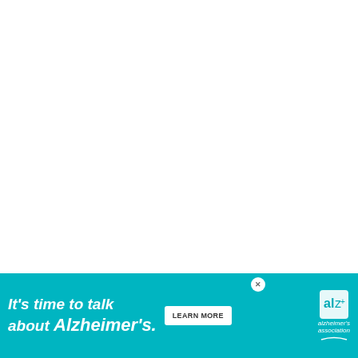[Figure (other): Heart/like button (circular dark navy button with heart icon), like count 120, and share button (circular white button with share icon)]
120
← PREVIOUS
WHAT'S NEXT → Red, White and Blue...
ay Five
[Figure (other): Advertisement banner for Alzheimer's Association reading: It's time to talk about Alzheimer's. LEARN MORE. With Alzheimer's Association logo.]